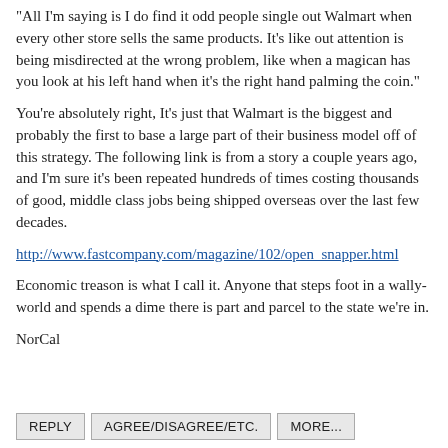“All I’m saying is I do find it odd people single out Walmart when every other store sells the same products. It’s like out attention is being misdirected at the wrong problem, like when a magican has you look at his left hand when it’s the right hand palming the coin.”
You’re absolutely right, It’s just that Walmart is the biggest and probably the first to base a large part of their business model off of this strategy. The following link is from a story a couple years ago, and I’m sure it’s been repeated hundreds of times costing thousands of good, middle class jobs being shipped overseas over the last few decades.
http://www.fastcompany.com/magazine/102/open_snapper.html
Economic treason is what I call it. Anyone that steps foot in a wally-world and spends a dime there is part and parcel to the state we’re in.
NorCal
REPLY   AGREE/DISAGREE/ETC.   MORE...